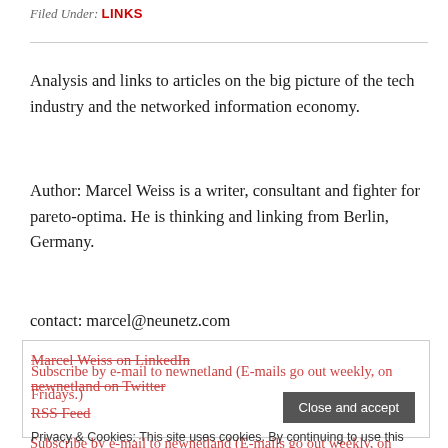Filed Under: LINKS
Analysis and links to articles on the big picture of the tech industry and the networked information economy.
Author: Marcel Weiss is a writer, consultant and fighter for pareto-optima. He is thinking and linking from Berlin, Germany.
contact: marcel@neunetz.com
Marcel Weiss on LinkedIn
newnetland on Twitter
RSS Feed
Privacy & Cookies: This site uses cookies. By continuing to use this website, you agree to their use. To find out more, including how to control cookies, see here: Cookie Policy
Subscribe by e-mail to newnetland (E-mails go out weekly, on Fridays.)
Close and accept